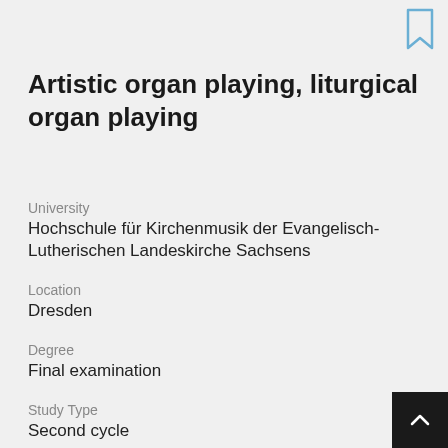[Figure (illustration): Bookmark icon in blue outline at top right corner]
Artistic organ playing, liturgical organ playing
University
Hochschule für Kirchenmusik der Evangelisch-Lutherischen Landeskirche Sachsens
Location
Dresden
Degree
Final examination
Study Type
Second cycle